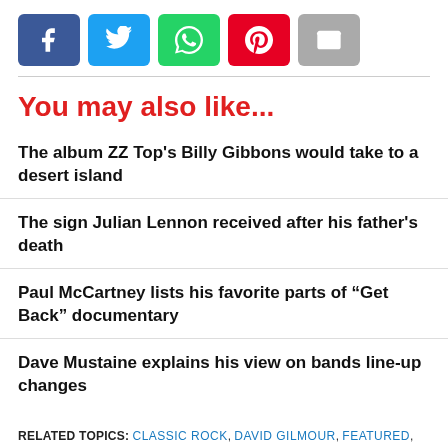[Figure (other): Social share buttons: Facebook (blue), Twitter (light blue), WhatsApp (green), Pinterest (red), Email (gray)]
You may also like...
The album ZZ Top's Billy Gibbons would take to a desert island
The sign Julian Lennon received after his father's death
Paul McCartney lists his favorite parts of “Get Back” documentary
Dave Mustaine explains his view on bands line-up changes
RELATED TOPICS: CLASSIC ROCK, DAVID GILMOUR, FEATURED, INTERVIEWS, NEWS, NICK MASON, PINK FLOYD, PROGRESSIVE ROCK, ROGER WATERS
Rafael Belcaro